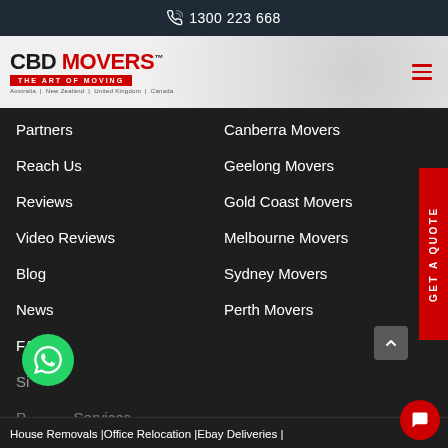1300 223 668
[Figure (logo): CBD Movers logo with tagline 'The Art of Moving' and countries Australia | New Zealand | United Kingdom | Canada]
Partners
Canberra Movers
Reach Us
Geelong Movers
Reviews
Gold Coast Movers
Video Reviews
Melbourne Movers
Blog
Sydney Movers
News
Perth Movers
FAQ's
Sitemap
Packing Services
House Removals |Office Relocation |Ebay Deliveries |